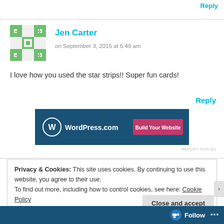Reply
Jen Carter
on September 3, 2015 at 5:49 am
I love how you used the star strips!! Super fun cards!
Reply
[Figure (illustration): WordPress.com advertisement banner with blue background, WordPress logo and 'Build Your Website' pink button]
REPORT THIS AD
Privacy & Cookies: This site uses cookies. By continuing to use this website, you agree to their use.
To find out more, including how to control cookies, see here: Cookie Policy
Close and accept
Follow